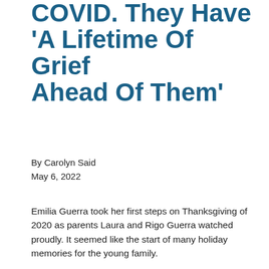COVID. They Have 'A Lifetime Of Grief Ahead Of Them'
By Carolyn Said
May 6, 2022
Emilia Guerra took her first steps on Thanksgiving of 2020 as parents Laura and Rigo Guerra watched proudly. It seemed like the start of many holiday memories for the young family.
A month later, it was Christmas Eve and Rigo, a